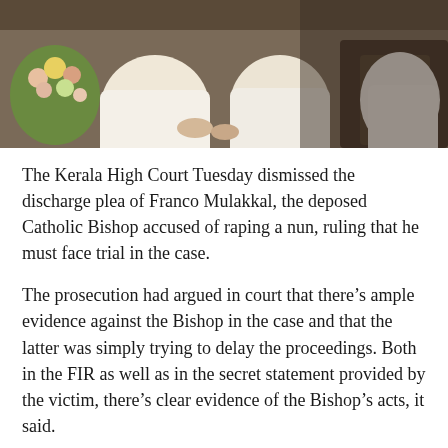[Figure (photo): Photograph of two people in white clothing seated, with flowers visible on the left side and dark background]
The Kerala High Court Tuesday dismissed the discharge plea of Franco Mulakkal, the deposed Catholic Bishop accused of raping a nun, ruling that he must face trial in the case.
The prosecution had argued in court that there's ample evidence against the Bishop in the case and that the latter was simply trying to delay the proceedings. Both in the FIR as well as in the secret statement provided by the victim, there's clear evidence of the Bishop's acts, it said.
On the other hand, the Bishop, in his plea for discharge claimed that the charges against him were cooked up due to some personal grudges and differences the victim had with him. He claimed he was being implicated because he had questioned her financial dealings.